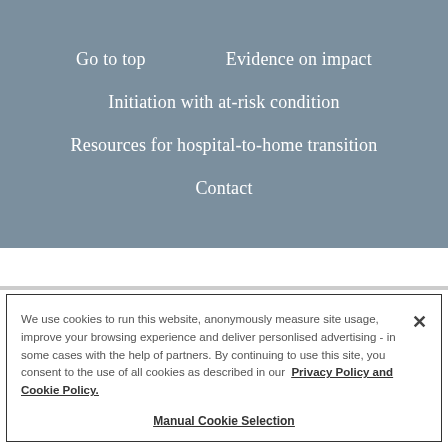Go to top    Evidence on impact
Initiation with at-risk condition
Resources for hospital-to-home transition
Contact
We use cookies to run this website, anonymously measure site usage, improve your browsing experience and deliver personlised advertising - in some cases with the help of partners. By continuing to use this site, you consent to the use of all cookies as described in our  Privacy Policy and Cookie Policy.
Manual Cookie Selection